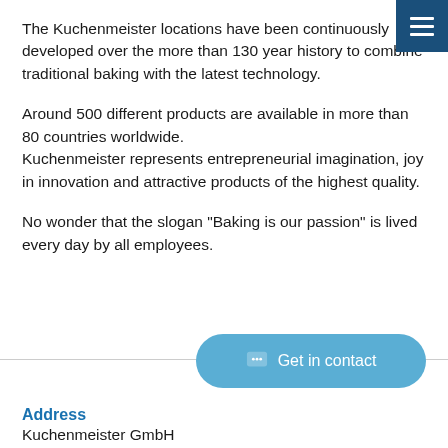The Kuchenmeister locations have been continuously developed over the more than 130 year history to combine traditional baking with the latest technology.
Around 500 different products are available in more than 80 countries worldwide.
Kuchenmeister represents entrepreneurial imagination, joy in innovation and attractive products of the highest quality.
No wonder that the slogan "Baking is our passion" is lived every day by all employees.
Address
Kuchenmeister GmbH